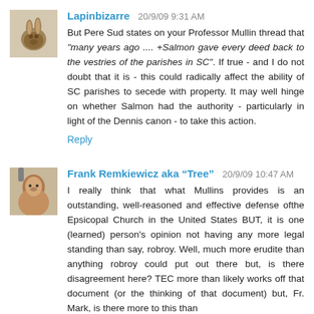[Figure (photo): Small avatar image of a rabbit/hare]
Lapinbizarre 20/9/09 9:31 AM
But Pere Sud states on your Professor Mullin thread that "many years ago .... +Salmon gave every deed back to the vestries of the parishes in SC". If true - and I do not doubt that it is - this could radically affect the ability of SC parishes to secede with property. It may well hinge on whether Salmon had the authority - particularly in light of the Dennis canon - to take this action.
Reply
[Figure (photo): Small avatar image of a person]
Frank Remkiewicz aka “Tree” 20/9/09 10:47 AM
I really think that what Mullins provides is an outstanding, well-reasoned and effective defense ofthe Epsicopal Church in the United States BUT, it is one (learned) person's opinion not having any more legal standing than say, robroy. Well, much more erudite than anything robroy could put out there but, is there disagreement here? TEC more than likely works off that document (or the thinking of that document) but, Fr. Mark, is there more to this than